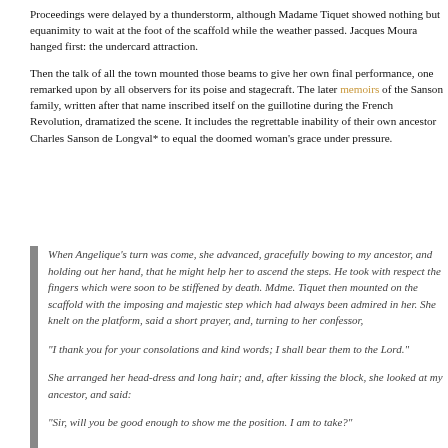Proceedings were delayed by a thunderstorm, although Madame Tiquet showed nothing but equanimity to wait at the foot of the scaffold while the weather passed. Jacques Moura hanged first: the undercard attraction.
Then the talk of all the town mounted those beams to give her own final performance, one remarked upon by all observers for its poise and stagecraft. The later memoirs of the Sanson family, written after that name inscribed itself on the guillotine during the French Revolution, dramatized the scene. It includes the regrettable inability of their own ancestor Charles Sanson de Longval* to equal the doomed woman's grace under pressure.
When Angelique's turn was come, she advanced, gracefully bowing to my ancestor, and holding out her hand, that he might help her to ascend the steps. He took with respect the fingers which were soon to be stiffened by death. Mdme. Tiquet then mounted on the scaffold with the imposing and majestic step which had always been admired in her. She knelt on the platform, said a short prayer, and, turning to her confessor,
“I thank you for your consolations and kind words; I shall bear them to the Lord.”
She arranged her head-dress and long hair; and, after kissing the block, she looked at my ancestor, and said:
“Sir, will you be good enough to show me the position. I am to take?”
Sanson de Longval, impressed by her look, had but just the strength to answer that she had only to put her head on the block.